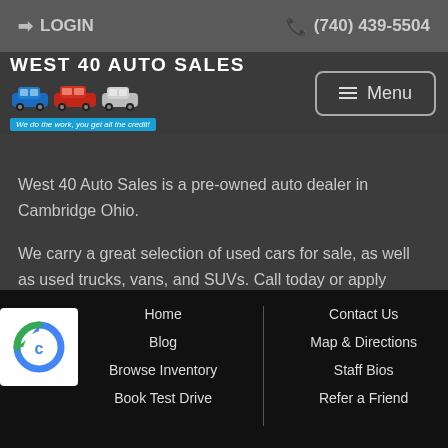LOGIN   (740) 439-5504
[Figure (logo): West 40 Auto Sales logo with illustrated cars and tagline 'We do the work, you get all the credit!']
West 40 Auto Sales is a pre-owned auto dealer in Cambridge Ohio.
We carry a great selection of used cars for sale, as well as used trucks, vans, and SUVs. Call today or apply online for our Guaranteed credit approval! We now have the best auto
Home   Blog   Browse Inventory   Book Test Drive   Contact Us   Map & Directions   Staff Bios   Refer a Friend